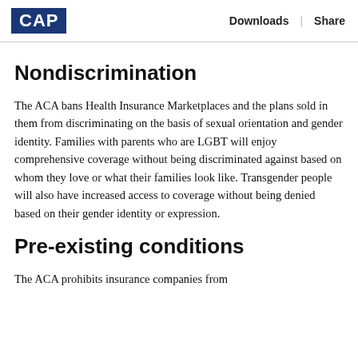CAP | Downloads | Share
Nondiscrimination
The ACA bans Health Insurance Marketplaces and the plans sold in them from discriminating on the basis of sexual orientation and gender identity. Families with parents who are LGBT will enjoy comprehensive coverage without being discriminated against based on whom they love or what their families look like. Transgender people will also have increased access to coverage without being denied based on their gender identity or expression.
Pre-existing conditions
The ACA prohibits insurance companies from